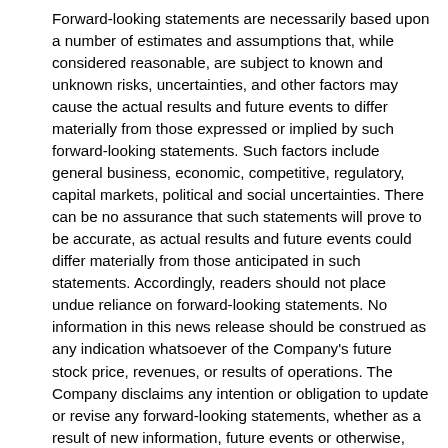Forward-looking statements are necessarily based upon a number of estimates and assumptions that, while considered reasonable, are subject to known and unknown risks, uncertainties, and other factors may cause the actual results and future events to differ materially from those expressed or implied by such forward-looking statements. Such factors include general business, economic, competitive, regulatory, capital markets, political and social uncertainties. There can be no assurance that such statements will prove to be accurate, as actual results and future events could differ materially from those anticipated in such statements. Accordingly, readers should not place undue reliance on forward-looking statements. No information in this news release should be construed as any indication whatsoever of the Company's future stock price, revenues, or results of operations. The Company disclaims any intention or obligation to update or revise any forward-looking statements, whether as a result of new information, future events or otherwise, except as required by law.